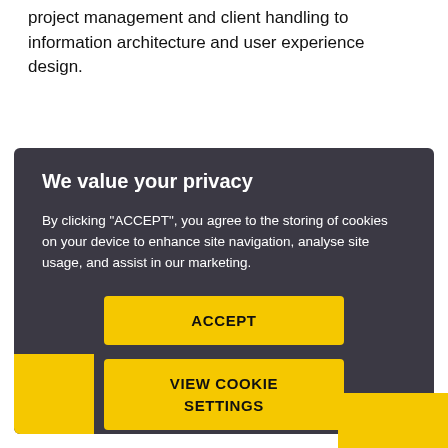project management and client handling to information architecture and user experience design.
We value your privacy
By clicking "ACCEPT", you agree to the storing of cookies on your device to enhance site navigation, analyse site usage, and assist in our marketing.
ACCEPT
VIEW COOKIE SETTINGS